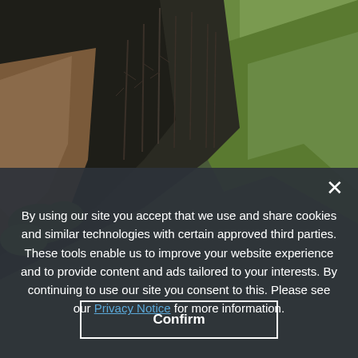[Figure (photo): Aerial or elevated view of a mountain landscape showing bare burned trees on dark slopes, rocky outcroppings with green moss/vegetation in the foreground left, and green forested valley and hills visible in the background right.]
By using our site you accept that we use and share cookies and similar technologies with certain approved third parties. These tools enable us to improve your website experience and to provide content and ads tailored to your interests. By continuing to use our site you consent to this. Please see our Privacy Notice for more information.
Confirm